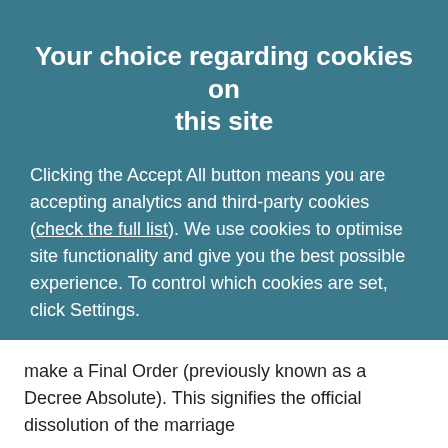Your choice regarding cookies on this site
Clicking the Accept All button means you are accepting analytics and third-party cookies (check the full list). We use cookies to optimise site functionality and give you the best possible experience. To control which cookies are set, click Settings.
Accept All   Settings
make a Final Order (previously known as a Decree Absolute). This signifies the official dissolution of the marriage